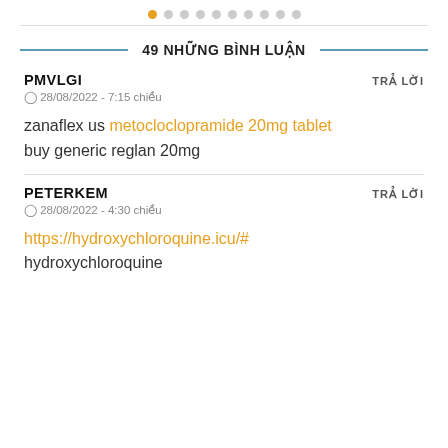• ○ ○ ○ ○ ○ ○ ○ ○ ○ (pagination dots)
49 NHỮNG BÌNH LUẬN
PMVLGI
TRẢ LỜI
⊙ 28/08/2022 - 7:15 chiều
zanaflex us metocloclopramide 20mg tablet buy generic reglan 20mg
PETERKEM
TRẢ LỜI
⊙ 28/08/2022 - 4:30 chiều
https://hydroxychloroquine.icu/#
hydroxychloroquine